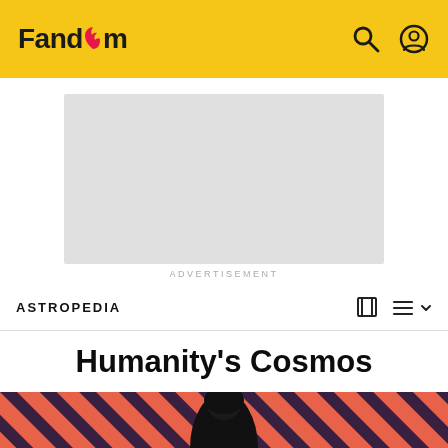Fandom
[Figure (other): Gray advertisement placeholder box]
ADVERTISEMENT
ASTROPEDIA
Humanity's Cosmos
[Figure (photo): Hero image with diagonal coral and dark stripe pattern and a dark-haired figure in black]